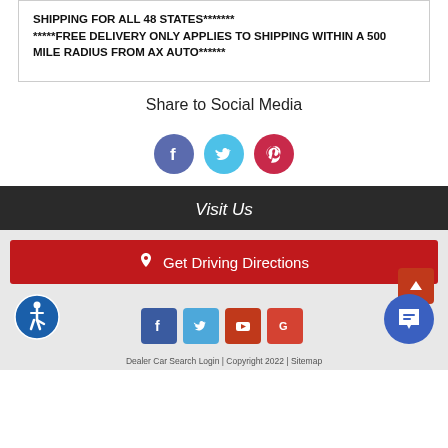SHIPPING FOR ALL 48 STATES******* *****FREE DELIVERY ONLY APPLIES TO SHIPPING WITHIN A 500 MILE RADIUS FROM AX AUTO******
Share to Social Media
[Figure (infographic): Three circular social media sharing icons: Facebook (blue-purple), Twitter (light blue), Pinterest (red)]
Visit Us
Get Driving Directions
[Figure (infographic): Four square social media icons: Facebook, Twitter, YouTube, Google Plus]
[Figure (infographic): Accessibility icon (wheelchair symbol in blue circle)]
[Figure (infographic): Chat bubble icon (blue circle with speech bubble)]
[Figure (infographic): Scroll to top button (red square with upward arrow)]
Dealer Car Search Login | Copyright 2022 | Sitemap